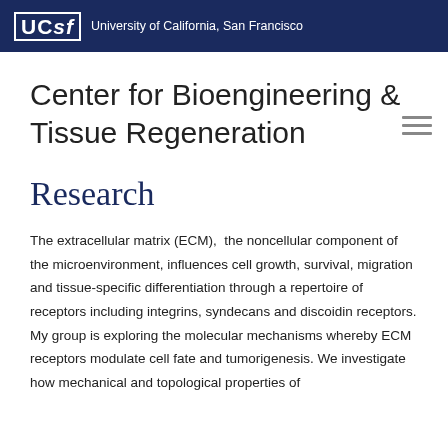UCSF University of California, San Francisco
Center for Bioengineering & Tissue Regeneration
Research
The extracellular matrix (ECM),  the noncellular component of the microenvironment, influences cell growth, survival, migration and tissue-specific differentiation through a repertoire of receptors including integrins, syndecans and discoidin receptors. My group is exploring the molecular mechanisms whereby ECM receptors modulate cell fate and tumorigenesis. We investigate how mechanical and topological properties of